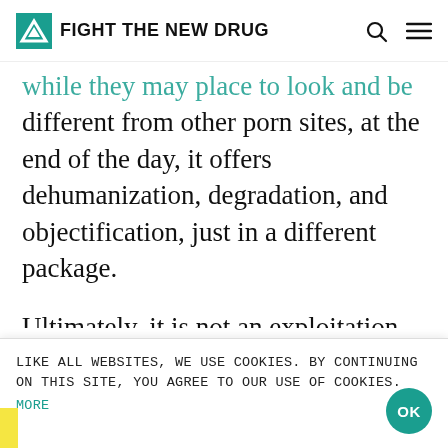FIGHT THE NEW DRUG
while they may place to look and be different from other porn sites, at the end of the day, it offers dehumanization, degradation, and objectification, just in a different package.
Ultimately, it is not an exploitation-free nor abuse-free platform. When will our culture take notice?
To learn more about how OnlyFans reportedly perpetuates sexual exploitation, click here.
LIKE ALL WEBSITES, WE USE COOKIES. BY CONTINUING ON THIS SITE, YOU AGREE TO OUR USE OF COOKIES.
MORE